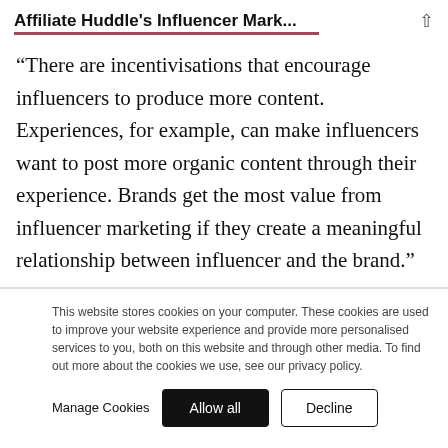Affiliate Huddle's Influencer Mark...
“There are incentivisations that encourage influencers to produce more content. Experiences, for example, can make influencers want to post more organic content through their experience. Brands get the most value from influencer marketing if they create a meaningful relationship between influencer and the brand.”
This website stores cookies on your computer. These cookies are used to improve your website experience and provide more personalised services to you, both on this website and through other media. To find out more about the cookies we use, see our privacy policy.